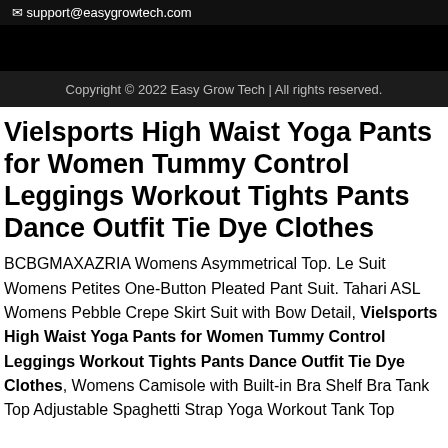✉ support@easygrowtech.com
Copyright © 2022 Easy Grow Tech | All rights reserved.
Vielsports High Waist Yoga Pants for Women Tummy Control Leggings Workout Tights Pants Dance Outfit Tie Dye Clothes
BCBGMAXAZRIA Womens Asymmetrical Top. Le Suit Womens Petites One-Button Pleated Pant Suit. Tahari ASL Womens Pebble Crepe Skirt Suit with Bow Detail, Vielsports High Waist Yoga Pants for Women Tummy Control Leggings Workout Tights Pants Dance Outfit Tie Dye Clothes, Womens Camisole with Built-in Bra Shelf Bra Tank Top Adjustable Spaghetti Strap Yoga Workout Tank Top